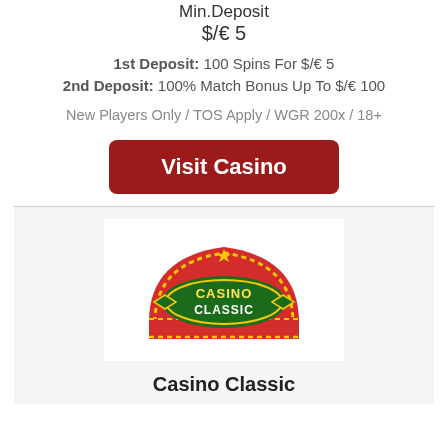Min.Deposit
$/€ 5
1st Deposit: 100 Spins For $/€ 5
2nd Deposit: 100% Match Bonus Up To $/€ 100
New Players Only / TOS Apply / WGR 200x / 18+
[Figure (other): Dark red rounded button with white bold text reading 'Visit Casino']
[Figure (logo): Casino Classic logo: red arched marquee sign with gold dotted border, green oval center with 'Casino Classic' text in yellow/white, diamond shapes on sides]
Casino Classic